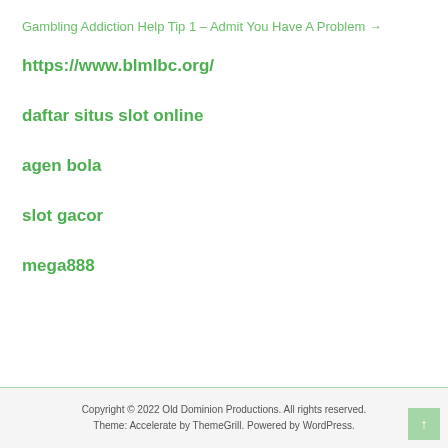Gambling Addiction Help Tip 1 – Admit You Have A Problem →
https://www.blmlbc.org/
daftar situs slot online
agen bola
slot gacor
mega888
Copyright © 2022 Old Dominion Productions. All rights reserved. Theme: Accelerate by ThemeGrill. Powered by WordPress.